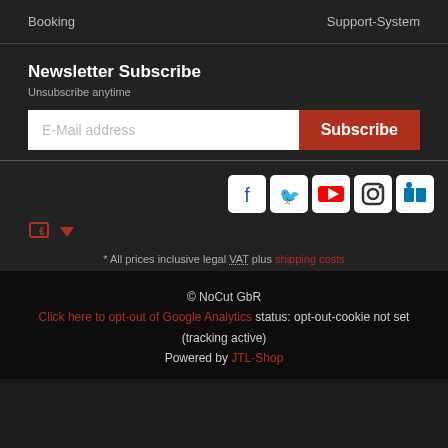Booking    Support-System
Newsletter Subscribe
Unsubscribe anytime
[Figure (screenshot): Email subscription form with E-Mail address input field and Subscribe button]
[Figure (infographic): Social media icons: Facebook, Twitter, YouTube, Instagram, LinkedIn]
[Figure (infographic): Currency selector icon with dropdown arrow]
* All prices inclusive legal VAT plus shipping costs
© NoCut GbR
Click here to opt-out of Google Analytics status: opt-out-cookie not set (tracking active)
Powered by JTL-Shop